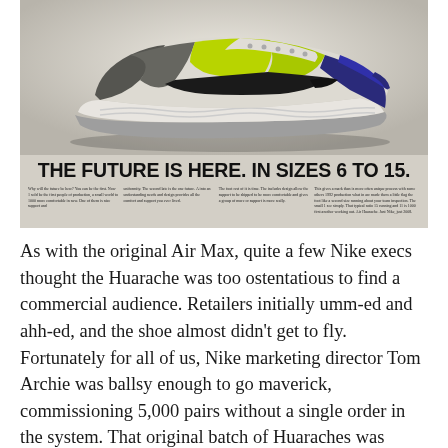[Figure (photo): Vintage Nike Air Huarache advertisement showing the shoe prominently with headline 'THE FUTURE IS HERE. IN SIZES 6 TO 15.' and small body copy columns below the shoe image.]
As with the original Air Max, quite a few Nike execs thought the Huarache was too ostentatious to find a commercial audience. Retailers initially umm-ed and ahh-ed, and the shoe almost didn't get to fly. Fortunately for all of us, Nike marketing director Tom Archie was ballsy enough to go maverick, commissioning 5,000 pairs without a single order in the system. That original batch of Huaraches was taken to the New York Marathon and sold out in just three short days. Validated by the approval of athletes, the shoe went into full-blown production in 1991 and over 250,000 pairs